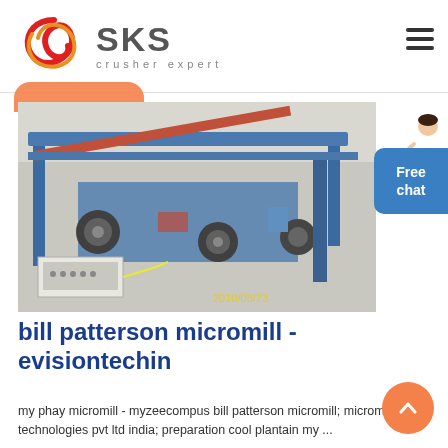[Figure (logo): SKS crusher expert logo with red swirl graphic and gray SKS text]
[Figure (photo): Large industrial micromill machine in a warehouse/factory setting, photographed on 2010/08/23, blue metal frame with rollers and control box]
bill patterson micromill - evisiontechin
my phay micromill - myzeecompus bill patterson micromill; micromill technologies pvt ltd india; preparation cool plantain my ...